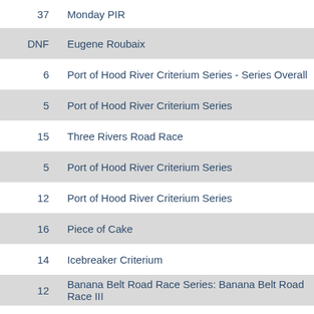| Place | Race Name |
| --- | --- |
| 37 | Monday PIR |
| DNF | Eugene Roubaix |
| 6 | Port of Hood River Criterium Series - Series Overall |
| 5 | Port of Hood River Criterium Series |
| 15 | Three Rivers Road Race |
| 5 | Port of Hood River Criterium Series |
| 12 | Port of Hood River Criterium Series |
| 16 | Piece of Cake |
| 14 | Icebreaker Criterium |
| 12 | Banana Belt Road Race Series: Banana Belt Road Race III |
| 15 | Banana Belt Road Race Series |
| 16 | Banana Belt Road Race Series: Banana Belt Road Race I |